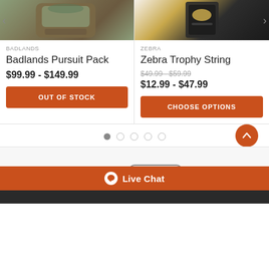[Figure (screenshot): Product card for Badlands Pursuit Pack showing a camo/brown hunting backpack image with left navigation arrow]
BADLANDS
Badlands Pursuit Pack
$99.99 - $149.99
OUT OF STOCK
[Figure (screenshot): Product card for Zebra Trophy String showing a bow string product in dark case with right navigation arrow]
ZEBRA
Zebra Trophy String
$49.99 - $59.99
$12.99 - $47.99
CHOOSE OPTIONS
[Figure (infographic): Pagination dots: 5 dots, first filled, rest empty. Scroll-to-top orange circular button on the right.]
[Figure (logo): TenPoint brand logo with antler SVG graphic above text]
[Figure (logo): Easton brand logo in grey oval/diamond shape]
Live Chat